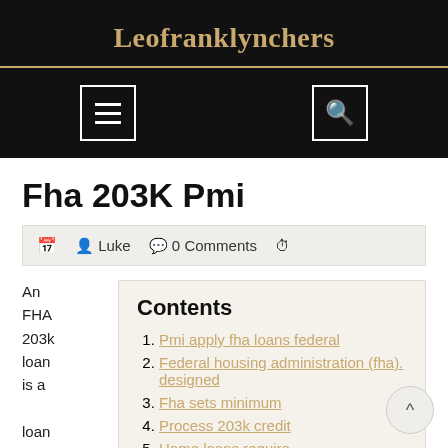Leofranklynchers
Fha 203K Pmi
Luke   0 Comments
Contents
1. Pmi apply fha loans federal
2. Federal housing administration (fha). designed
3. Fha sets minimum
4. Process 203k credit
5. Home loans require
An FHA 203k loan is a loan back